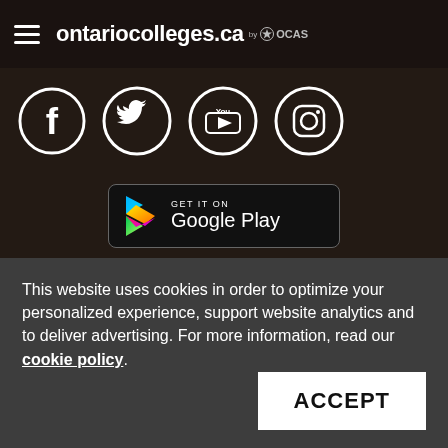ontariocolleges.ca by OCAS
[Figure (other): Social media icons: Facebook, Twitter, YouTube, Instagram in white circles on dark background]
[Figure (other): Google Play store download button]
This website uses cookies in order to optimize your personalized experience, support website analytics and to deliver advertising. For more information, read our cookie policy.
ACCEPT